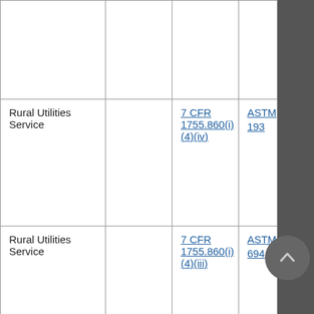|  |  |  |  |
| Rural Utilities Service |  | 7 CFR 1755.860(i)(4)(iv) | ASTM 193 |
| Rural Utilities Service |  | 7 CFR 1755.860(i)(4)(iii) | ASTM 694 |